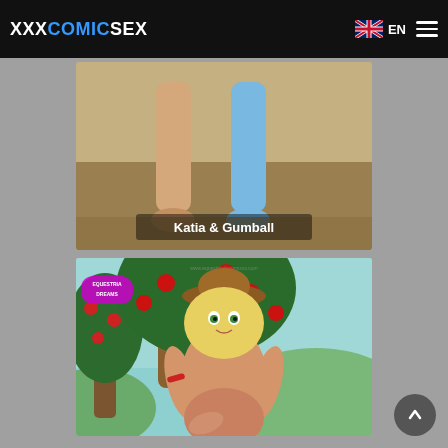XXXCOMICSEX | EN
[Figure (illustration): Partial cartoon illustration showing character legs, titled Katia & Gumball]
[Figure (illustration): Cartoon illustration of a nude blonde female character wearing a brown hat, standing in front of an apple tree with red apples, light blue sky background. Watermark text visible.]